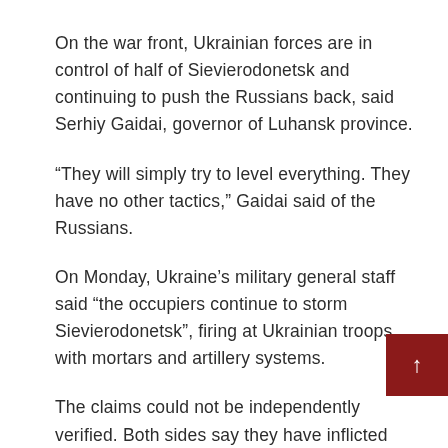On the war front, Ukrainian forces are in control of half of Sievierodonetsk and continuing to push the Russians back, said Serhiy Gaidai, governor of Luhansk province.
“They will simply try to level everything. They have no other tactics,” Gaidai said of the Russians.
On Monday, Ukraine’s military general staff said “the occupiers continue to storm Sievierodonetsk”, firing at Ukrainian troops with mortars and artillery systems.
The claims could not be independently verified. Both sides say they have inflicted huge casualties in Sievierodonetsk.